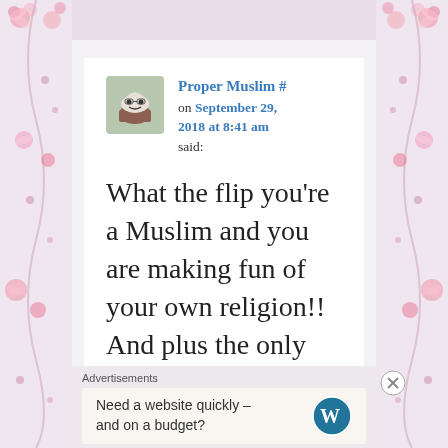[Figure (illustration): Decorative floral pink pattern on left side panel]
[Figure (illustration): Decorative floral pink pattern on right side panel]
Proper Muslim # on September 29, 2018 at 8:41 am said:
What the flip you’re a Muslim and you are making fun of your own religion!! And plus the only reason a Muslim
Advertisements
Need a website quickly – and on a budget?